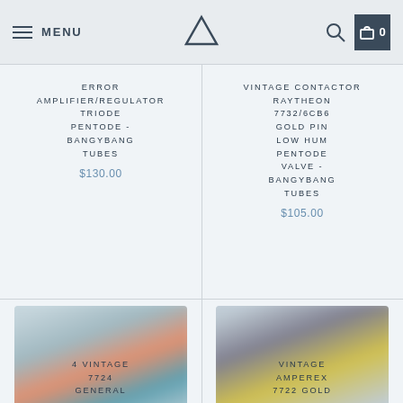MENU | [Logo] | [Search] | Cart 0
ERROR AMPLIFIER/REGULATOR TRIODE PENTODE - BANGYBANG TUBES
$130.00
VINTAGE CONTACTOR RAYTHEON 7732/6CB6 GOLD PIN LOW HUM PENTODE VALVE - BANGYBANG TUBES
$105.00
[Figure (photo): Blurred photo of vintage electronic tubes with colorful bands]
4 VINTAGE 7724 GENERAL
[Figure (photo): Blurred photo of vintage electronic tubes with yellow/gold coloring]
VINTAGE AMPEREX 7722 GOLD